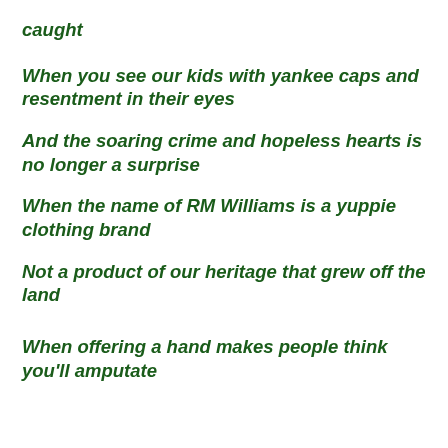caught
When you see our kids with yankee caps and resentment in their eyes
And the soaring crime and hopeless hearts is no longer a surprise
When the name of RM Williams is a yuppie clothing brand
Not a product of our heritage that grew off the land
When offering a hand makes people think you'll amputate